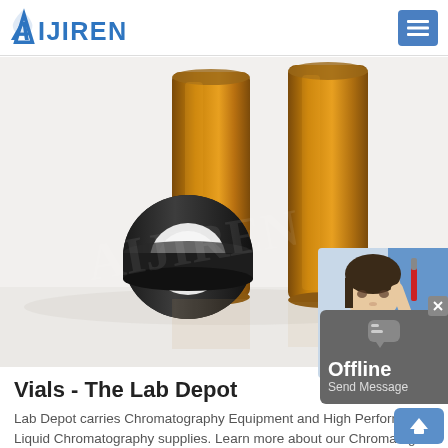AIJIREN
[Figure (photo): Product photo of amber glass chromatography vials with black screw caps, shown standing upright and one lying on its side on a white reflective surface. Aijiren watermark visible.]
Vials - The Lab Depot
Lab Depot carries Chromatography Equipment and High Performance Liquid Chromatography supplies. Learn more about our Chromatogra...
GET PRICE